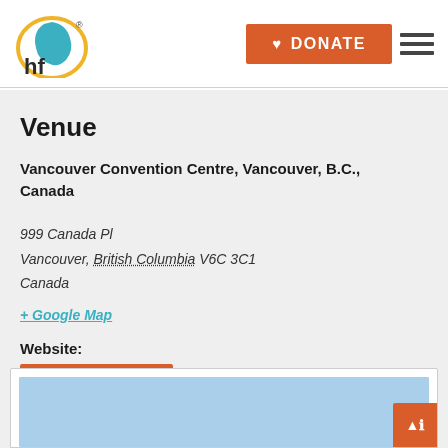[Figure (logo): hf logo with circular teal design and gold ring]
[Figure (other): Orange DONATE button with heart icon and hamburger menu icon]
Venue
Vancouver Convention Centre, Vancouver, B.C., Canada
999 Canada Pl
Vancouver, British Columbia V6C 3C1
Canada
+ Google Map
Website:
Venue Details
[Figure (map): Map placeholder showing blue area representing Vancouver Convention Centre location]